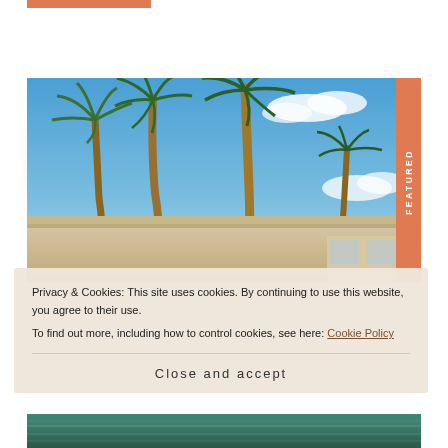[Figure (photo): Orange horizontal bar at top of page]
[Figure (photo): Photograph of a building with tall palm trees against a blue sky with white clouds, with a 'FEATURED' badge on the right side]
Privacy & Cookies: This site uses cookies. By continuing to use this website, you agree to their use.
To find out more, including how to control cookies, see here: Cookie Policy
Close and accept
[Figure (photo): Bottom strip showing what appears to be a waterfront or pool scene with green/teal tones]